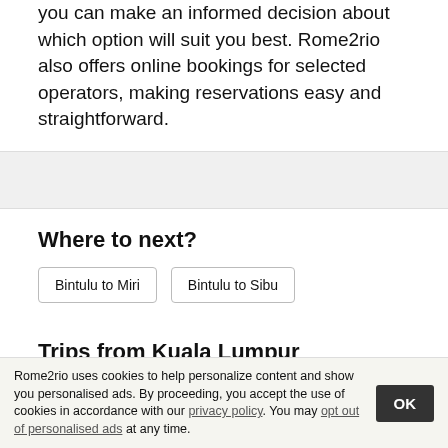you can make an informed decision about which option will suit you best. Rome2rio also offers online bookings for selected operators, making reservations easy and straightforward.
Where to next?
Bintulu to Miri
Bintulu to Sibu
Trips from Kuala Lumpur
Kuala Lumpur to Sitiawan
Kuala Lumpur to Sungai Besar
Rome2rio uses cookies to help personalize content and show you personalised ads. By proceeding, you accept the use of cookies in accordance with our privacy policy. You may opt out of personalised ads at any time.